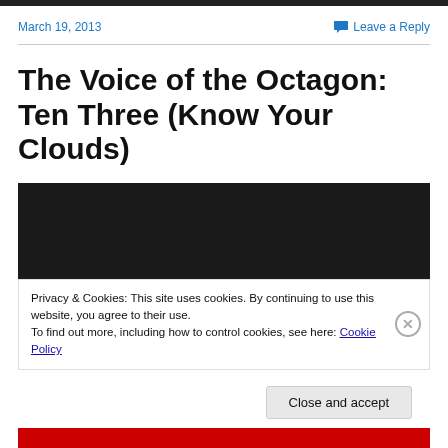March 19, 2013
Leave a Reply
The Voice of the Octagon: Ten Three (Know Your Clouds)
[Figure (screenshot): Dark/black video embed placeholder]
Privacy & Cookies: This site uses cookies. By continuing to use this website, you agree to their use.
To find out more, including how to control cookies, see here: Cookie Policy
Close and accept